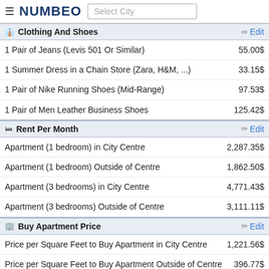NUMBEO — Select City
Clothing And Shoes
| Item | Price |
| --- | --- |
| 1 Pair of Jeans (Levis 501 Or Similar) | 55.00$ |
| 1 Summer Dress in a Chain Store (Zara, H&M, ...) | 33.15$ |
| 1 Pair of Nike Running Shoes (Mid-Range) | 97.53$ |
| 1 Pair of Men Leather Business Shoes | 125.42$ |
Rent Per Month
| Item | Price |
| --- | --- |
| Apartment (1 bedroom) in City Centre | 2,287.35$ |
| Apartment (1 bedroom) Outside of Centre | 1,862.50$ |
| Apartment (3 bedrooms) in City Centre | 4,771.43$ |
| Apartment (3 bedrooms) Outside of Centre | 3,111.11$ |
Buy Apartment Price
| Item | Price |
| --- | --- |
| Price per Square Feet to Buy Apartment in City Centre | 1,221.56$ |
| Price per Square Feet to Buy Apartment Outside of Centre | 396.77$ |